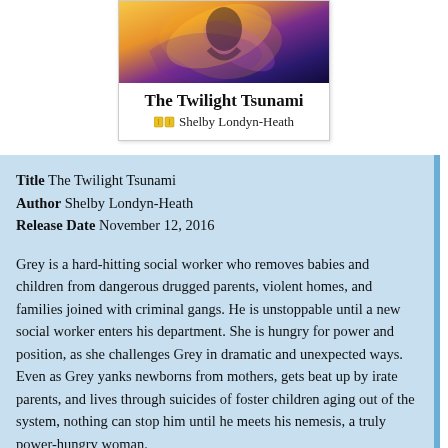[Figure (illustration): Book cover for 'The Twilight Tsunami' by Shelby Londyn-Heath, showing colorful abstract art with the title in bold and author name below.]
Title The Twilight Tsunami
Author Shelby Londyn-Heath
Release Date November 12, 2016
Grey is a hard-hitting social worker who removes babies and children from dangerous drugged parents, violent homes, and families joined with criminal gangs. He is unstoppable until a new social worker enters his department. She is hungry for power and position, as she challenges Grey in dramatic and unexpected ways. Even as Grey yanks newborns from mothers, gets beat up by irate parents, and lives through suicides of foster children aging out of the system, nothing can stop him until he meets his nemesis, a truly power-hungry woman.